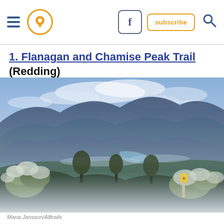Navigation bar with hamburger menu, location pin icon, Facebook button, subscribe button, search icon
1. Flanagan and Chamise Peak Trail (Redding)
[Figure (photo): Scenic mountain landscape view from Flanagan and Chamise Peak Trail near Redding, showing layered blue mountain ridges, a winding river or lake in the valley, and white-blooming shrubs in the foreground under a cloudy sky. A trail marker post is visible in the lower right area.]
Maria Jansson/Alltrails